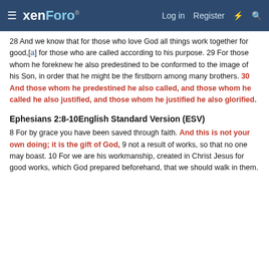xenForo  Log in  Register
28 And we know that for those who love God all things work together for good,[a] for those who are called according to his purpose. 29 For those whom he foreknew he also predestined to be conformed to the image of his Son, in order that he might be the firstborn among many brothers. 30 And those whom he predestined he also called, and those whom he called he also justified, and those whom he justified he also glorified.
Ephesians 2:8-10English Standard Version (ESV)
8 For by grace you have been saved through faith. And this is not your own doing; it is the gift of God, 9 not a result of works, so that no one may boast. 10 For we are his workmanship, created in Christ Jesus for good works, which God prepared beforehand, that we should walk in them.